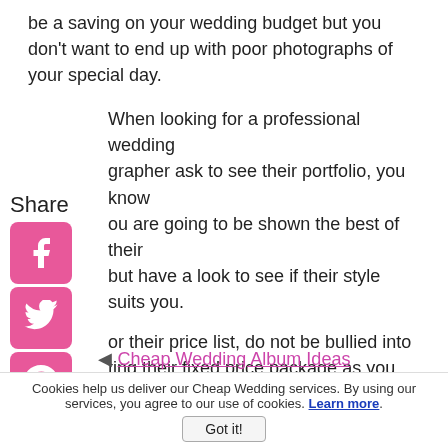be a saving on your wedding budget but you don't want to end up with poor photographs of your special day.
When looking for a professional wedding photographer ask to see their portfolio, you know you are going to be shown the best of their but have a look to see if their style suits you.
or their price list, do not be bullied into ting their fixed price package as you might ant that combination of photographs. Do you xtra for extra prints? Is the cost of the album ed in the price?
[Figure (infographic): Share sidebar with social media icons: Facebook (pink), Twitter (pink), Pinterest (pink), Tumblr (pink), Reddit (pink), WhatsApp (pink)]
Cheap Wedding Album Ideas
Cookies help us deliver our Cheap Wedding services. By using our services, you agree to our use of cookies. Learn more.
Got it!